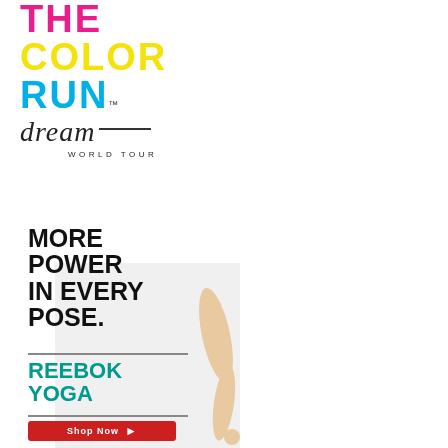[Figure (logo): The Color Run Dream World Tour logo with colorful stacked text: THE in magenta/pink, COLOR in yellow, RUN in cyan/blue with TM mark, followed by 'dream' in script with underline, and 'WORLD TOUR' in small caps below]
[Figure (illustration): Reebok Yoga advertisement showing bold black text 'MORE POWER IN EVERY POSE.' with teal 'REEBOK YOGA' branding, a red Shop Now button, and a photo of a person's leg/foot in a yoga pose]